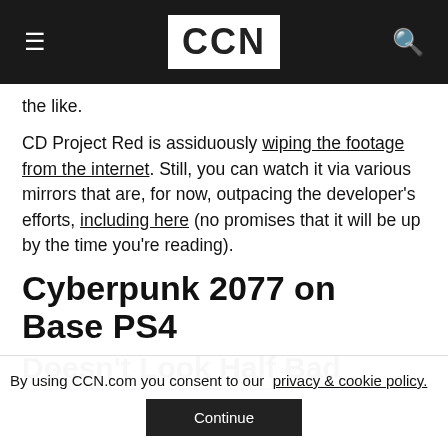CCN
the like.
CD Project Red is assiduously wiping the footage from the internet. Still, you can watch it via various mirrors that are, for now, outpacing the developer's efforts, including here (no promises that it will be up by the time you're reading).
Cyberpunk 2077 on Base PS4
Doesn't Look Half Bad
By using CCN.com you consent to our  privacy & cookie policy.
Continue